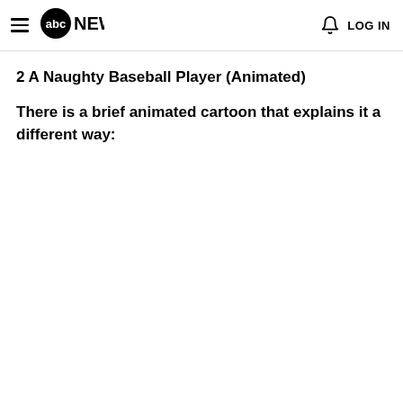abc NEWS  LOG IN
2 A Naughty Baseball Player (Animated)
There is a brief animated cartoon that explains it a different way: